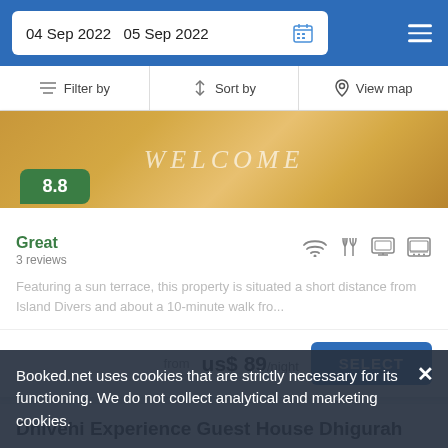04 Sep 2022  05 Sep 2022
Filter by   Sort by   View map
[Figure (photo): Hotel welcome image showing a bed with WELCOME text, golden/warm tones]
8.8
Great
3 reviews
Featuring a sun terrace, this property is situated a short distance from Island Divers and about a 10-minute walk fro...
from us$ 89/night
SELECT
Dhivehi Experience Guest House Dhigurah
Guest house ★★★
Booked.net uses cookies that are strictly necessary for its functioning. We do not collect analytical and marketing cookies.